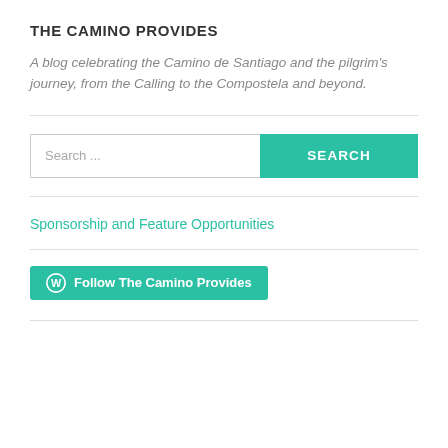THE CAMINO PROVIDES
A blog celebrating the Camino de Santiago and the pilgrim's journey, from the Calling to the Compostela and beyond.
Search ...
Sponsorship and Feature Opportunities
Follow The Camino Provides